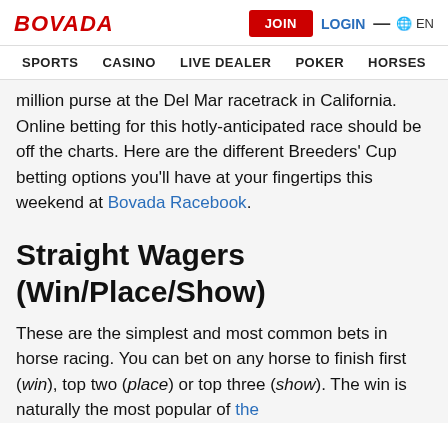BOVADA  JOIN  LOGIN  EN
SPORTS  CASINO  LIVE DEALER  POKER  HORSES
million purse at the Del Mar racetrack in California. Online betting for this hotly-anticipated race should be off the charts. Here are the different Breeders' Cup betting options you'll have at your fingertips this weekend at Bovada Racebook.
Straight Wagers (Win/Place/Show)
These are the simplest and most common bets in horse racing. You can bet on any horse to finish first (win), top two (place) or top three (show). The win is naturally the most popular of the